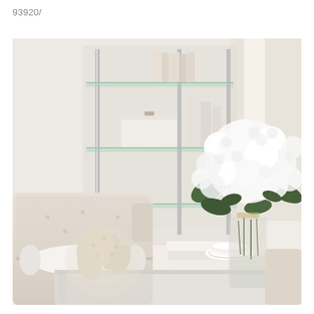93920/
[Figure (photo): Elegant white living room interior featuring a glass and chrome three-tier shelf unit against the wall displaying books, a white box, and decorative items. In the foreground is a beige tufted sofa with a white bolster pillow, a glass and acrylic coffee table holding a coral sculpture, stacked white books, a patterned bowl, and a large clear glass vase filled with white hydrangeas. The overall color palette is white, cream, and beige.]